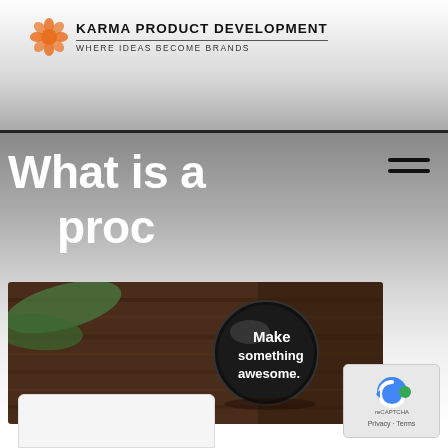KARMA PRODUCT DEVELOPMENT — WHERE IDEAS BECOME BRANDS
What is a pro…
[Figure (photo): A black pin button on a wooden surface reading 'Make something awesome.']
[Figure (logo): Google reCAPTCHA widget with Privacy and Terms links]